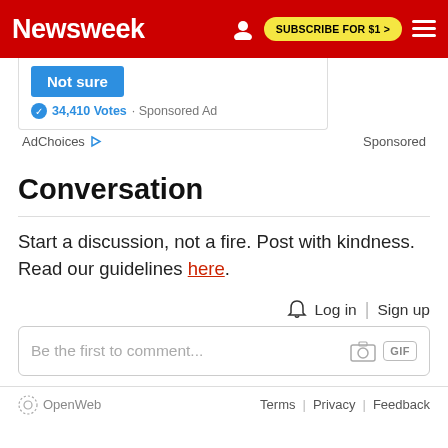Newsweek   SUBSCRIBE FOR $1 >
[Figure (screenshot): Partial ad widget showing a blue 'Not sure' button, 34,410 Votes, and Sponsored Ad label]
AdChoices   Sponsored
Conversation
Start a discussion, not a fire. Post with kindness. Read our guidelines here.
Log in  |  Sign up
Be the first to comment...
OpenWeb   Terms | Privacy | Feedback